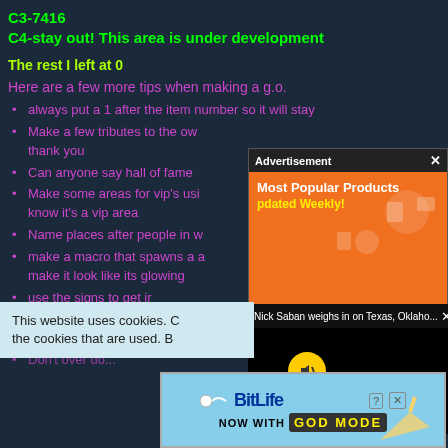C3-7416
C4-stay out! This area is under development
The rest I left at 0
Here are a few more tips when making a g.o.
always put a 1 after the item number so it will stay
Make a few tributes to the owner you like thank you
Can anyone say hall of fame
Make some areas for vip's use so people know it's a vip area
Name places after people in w
make a macro that spawns a a make it look like its glowing
use the signs to get in to your webpage mak
Don't over do it
Don't...
[Figure (screenshot): Advertisement popup showing 'Most Popular Products Updated Weekly!' on orange background with shopping icons]
[Figure (screenshot): News ticker bar: 'Nick Saban weighs in on Texas, Oklaho...' with close button]
[Figure (screenshot): Black video player area with yellow mute button]
This website uses cookies. Click to find out more about the cookies that are used. B
[Figure (screenshot): BitLife advertisement banner: 'BitLife NOW WITH GOD MODE' on light blue background]